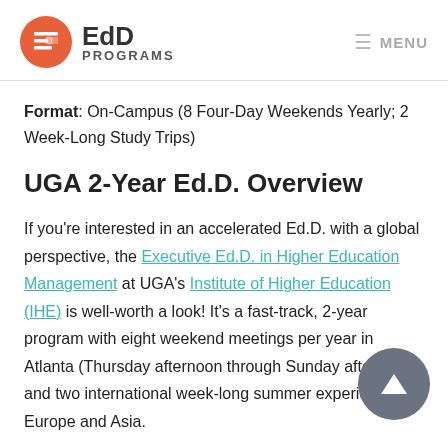EdD PROGRAMS  MENU
Format: On-Campus (8 Four-Day Weekends Yearly; 2 Week-Long Study Trips)
UGA 2-Year Ed.D. Overview
If you're interested in an accelerated Ed.D. with a global perspective, the Executive Ed.D. in Higher Education Management at UGA's Institute of Higher Education (IHE) is well-worth a look! It's a fast-track, 2-year program with eight weekend meetings per year in Atlanta (Thursday afternoon through Sunday afternoon) and two international week-long summer experiences in Europe and Asia.